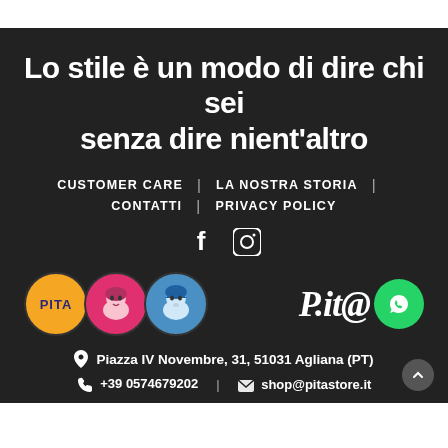Lo stile è un modo di dire chi sei senza dire nient'altro
CUSTOMER CARE | LA NOSTRA STORIA | CONTATTI | PRIVACY POLICY
[Figure (logo): Social media icons: Facebook and Instagram]
[Figure (logo): Pita store logo circles (PITA, girl with red hair, girl with blue hair) and brand name P.it@ with WhatsApp icon]
Piazza IV Novembre, 31, 51031 Agliana (PT)
+39 0574679202 | shop@pitastore.it